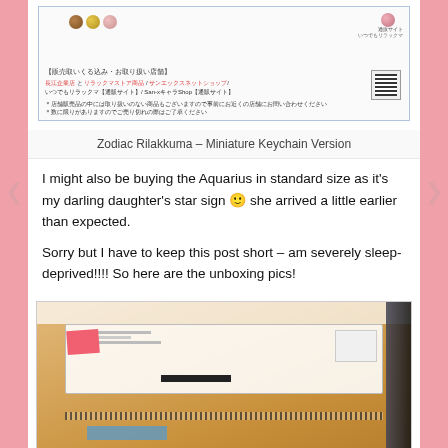[Figure (photo): Cropped product image showing Japanese text about Zodiac Rilakkuma keychain with QR code]
Zodiac Rilakkuma – Miniature Keychain Version
I might also be buying the Aquarius in standard size as it's my darling daughter's star sign 🙂 she arrived a little earlier than expected.
Sorry but I have to keep this post short – am severely sleep-deprived!!!! So here are the unboxing pics!
[Figure (photo): Photo of a San-x branded cardboard shipping box on a white surface, with shipping labels, a pink sticker, blue tape, and redacted barcode area visible]